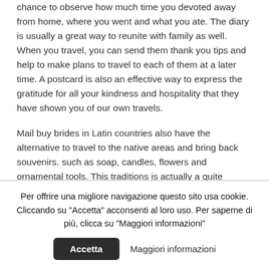chance to observe how much time you devoted away from home, where you went and what you ate. The diary is usually a great way to reunite with family as well. When you travel, you can send them thank you tips and help to make plans to travel to each of them at a later time. A postcard is also an effective way to express the gratitude for all your kindness and hospitality that they have shown you of our own travels.
Mail buy brides in Latin countries also have the alternative to travel to the native areas and bring back souvenirs. such as soap, candles, flowers and ornamental tools. This traditions is actually a quite popular one among Latina women. If you would like to bring a present back to the Latin friend, you might want to consider sending them flowers. You may give these as a memento of your best of luck and a reminder of your occurrence in their lives.
Per offrire una migliore navigazione questo sito usa cookie. Cliccando su "Accetta" acconsenti al loro uso. Per saperne di più, clicca su "Maggiori informazioni"